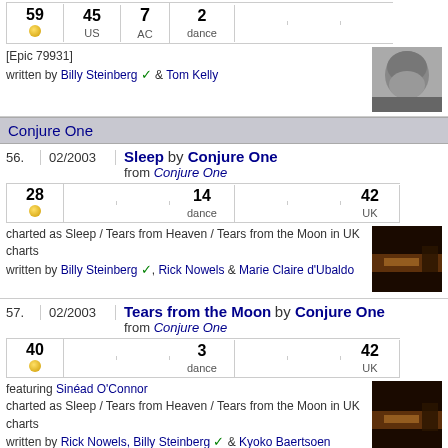| 59 | 45 US | 7 AC | 2 dance |  |  |  |
| --- | --- | --- | --- | --- | --- | --- |
[Epic 79931]
written by Billy Steinberg ✓ & Tom Kelly
[Figure (photo): Black and white photo of a woman smiling]
Conjure One
56. 02/2003 Sleep by Conjure One from Conjure One
| 28 |  |  | 14 dance |  |  | 42 UK |
| --- | --- | --- | --- | --- | --- | --- |
charted as Sleep / Tears from Heaven / Tears from the Moon in UK charts
written by Billy Steinberg ✓, Rick Nowels & Marie Claire d'Ubaldo
[Figure (photo): Dark thumbnail image of Conjure One album]
57. 02/2003 Tears from the Moon by Conjure One from Conjure One
| 40 |  |  | 3 dance |  |  | 42 UK |
| --- | --- | --- | --- | --- | --- | --- |
featuring Sinéad O'Connor
charted as Sleep / Tears from Heaven / Tears from the Moon in UK charts
written by Rick Nowels, Billy Steinberg ✓ & Kyoko Baertsoen
[Figure (photo): Dark thumbnail image of Conjure One album]
Masta Blasta
58. 03/2003 So Emotional by Masta Blasta